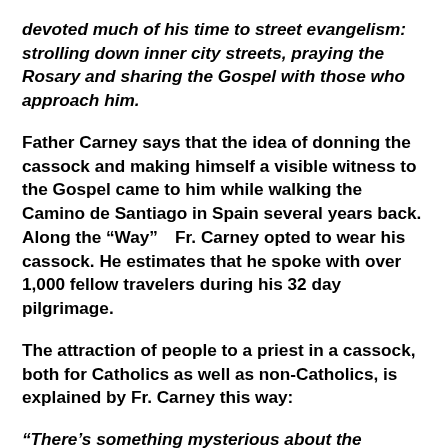devoted much of his time to street evangelism: strolling down inner city streets, praying the Rosary and sharing the Gospel with those who approach him.
Father Carney says that the idea of donning the cassock and making himself a visible witness to the Gospel came to him while walking the Camino de Santiago in Spain several years back. Along the “Way”  Fr. Carney opted to wear his cassock. He estimates that he spoke with over 1,000 fellow travelers during his 32 day pilgrimage.
The attraction of people to a priest in a cassock, both for Catholics as well as non-Catholics, is explained by Fr. Carney this way:
“There’s something mysterious about the cassock; it acts like a magnet, drawing people to you…It is a sacramental